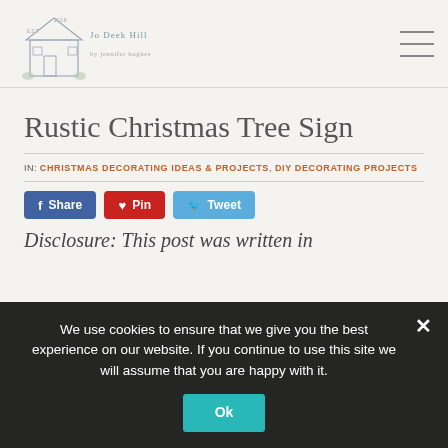Jo Dee's Hill - blog header with logo and navigation
Rustic Christmas Tree Sign
IN: CHRISTMAS DECORATING IDEAS & PROJECTS, DIY DECORATING PROJECTS
Share | Pin | Tweet
Disclosure: This post was written in
We use cookies to ensure that we give you the best experience on our website. If you continue to use this site we will assume that you are happy with it. Ok